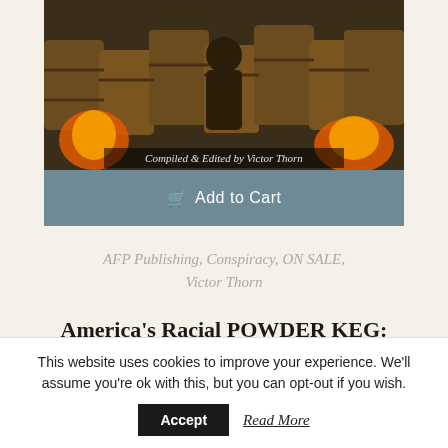[Figure (photo): Book cover image for America's Racial POWDER KEG, compiled and edited by Victor Thorn, showing a dark scene with fire and barrels]
Add to Cart
AFP Publishing, Conspiracy, ON SALE, Victor Thorn
America's Racial POWDER KEG: How a Violent Dependency State Has Been Created Within the Black Community
This website uses cookies to improve your experience. We'll assume you're ok with this, but you can opt-out if you wish.
Accept   Read More